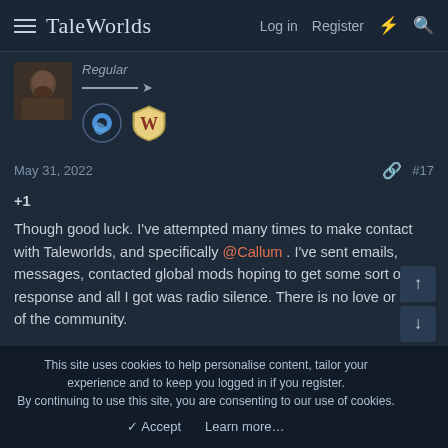TaleWorlds  Log in  Register  ⚡  🔍
Regular
May 31, 2022  #17
+1
Though good luck. I've attempted many times to make contact with Taleworlds, and specifically @Callum . I've sent emails, messages, contacted global mods hoping to get some sort of response and all I got was radio silence. There is no love or care of the community.

I ran the largest and fastest growing OCE community for Bannerlord, reaching at 400+ people in the discord before...
This site uses cookies to help personalise content, tailor your experience and to keep you logged in if you register.
By continuing to use this site, you are consenting to our use of cookies.
✓ Accept   Learn more…